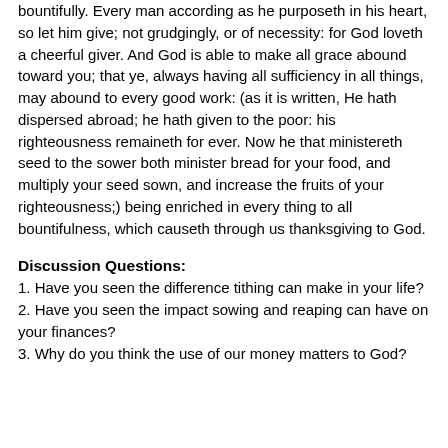bountifully. Every man according as he purposeth in his heart, so let him give; not grudgingly, or of necessity: for God loveth a cheerful giver. And God is able to make all grace abound toward you; that ye, always having all sufficiency in all things, may abound to every good work: (as it is written, He hath dispersed abroad; he hath given to the poor: his righteousness remaineth for ever. Now he that ministereth seed to the sower both minister bread for your food, and multiply your seed sown, and increase the fruits of your righteousness;) being enriched in every thing to all bountifulness, which causeth through us thanksgiving to God.
Discussion Questions:
1. Have you seen the difference tithing can make in your life?
2. Have you seen the impact sowing and reaping can have on your finances?
3. Why do you think the use of our money matters to God?